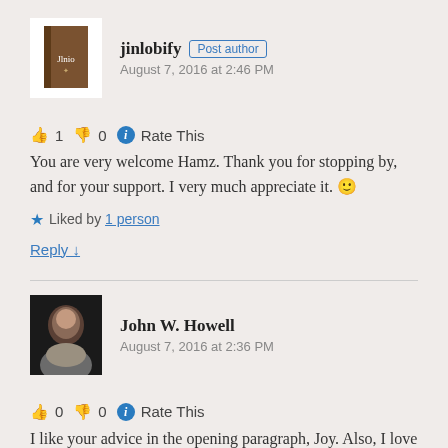jinlobify Post author
August 7, 2016 at 2:46 PM
👍 1 👎 0 ℹ Rate This
You are very welcome Hamz. Thank you for stopping by, and for your support. I very much appreciate it. 🙂
★ Liked by 1 person
Reply ↓
John W. Howell
August 7, 2016 at 2:36 PM
👍 0 👎 0 ℹ Rate This
I like your advice in the opening paragraph, Joy. Also, I love to read